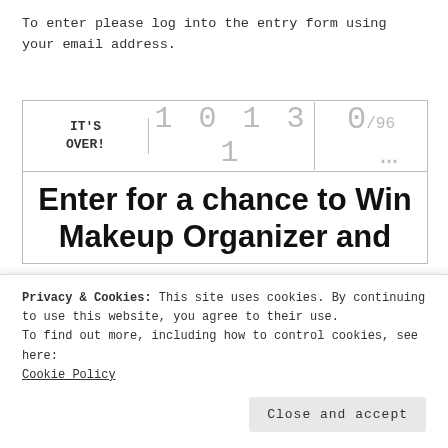To enter please log into the entry form using your email address.
[Figure (screenshot): Entry form widget showing 'IT'S OVER!' label, digit counter '10131', and score counter '0/96']
Enter for a chance to Win Makeup Organizer and
Privacy & Cookies: This site uses cookies. By continuing to use this website, you agree to their use.
To find out more, including how to control cookies, see here:
Cookie Policy
Close and accept